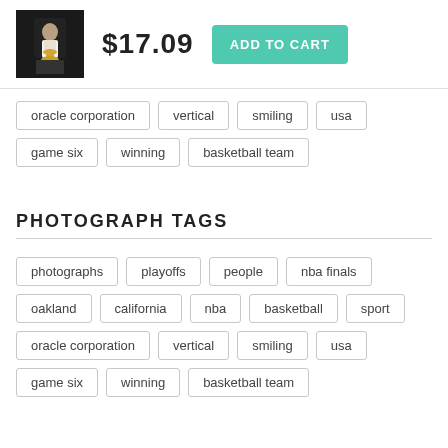[Figure (photo): Product thumbnail of a basketball player holding a trophy]
$17.09
ADD TO CART
oracle corporation
vertical
smiling
usa
game six
winning
basketball team
PHOTOGRAPH TAGS
photographs
playoffs
people
nba finals
oakland
california
nba
basketball
sport
oracle corporation
vertical
smiling
usa
game six
winning
basketball team